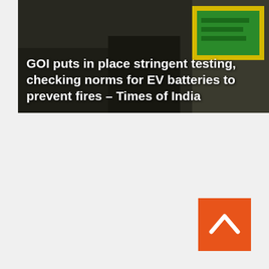[Figure (photo): News article thumbnail image with dark background showing automotive/EV related scene with a green and yellow sign visible. White bold text overlay reads: 'GOI puts in place stringent testing, checking norms for EV batteries to prevent fires – Times of India']